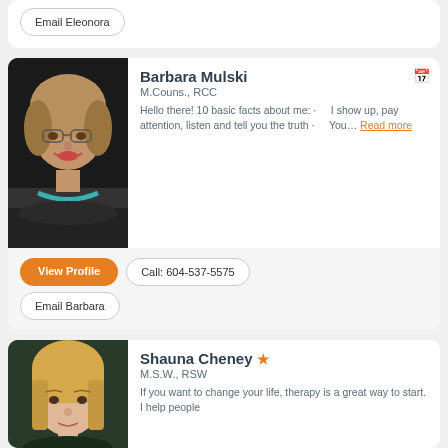[Figure (other): Partial card top with Email Eleonora button]
[Figure (photo): Photo of Barbara Mulski, a middle-aged woman with blonde hair and glasses, smiling]
Barbara Mulski M.Couns., RCC Hello there! 10 basic facts about me: · I show up, pay attention, listen and tell you the truth · You... Read more
View Profile | Call: 604-537-5575 | Email Barbara
[Figure (photo): Photo of Shauna Cheney, a woman with blonde hair]
Shauna Cheney ★ M.S.W., RSW If you want to change your life, therapy is a great way to start. I help people